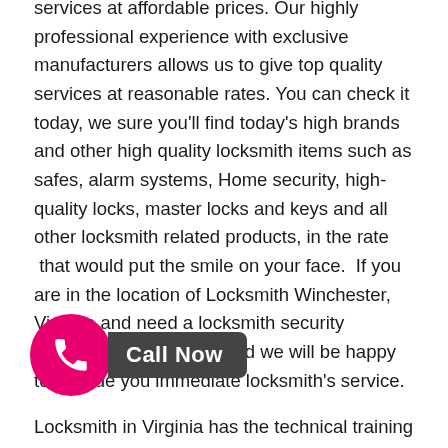services at affordable prices. Our highly professional experience with exclusive manufacturers allows us to give top quality services at reasonable rates. You can check it today, we sure you'll find today's high brands and other high quality locksmith items such as safes, alarm systems, Home security, high-quality locks, master locks and keys and all other locksmith related products, in the rate that would put the smile on your face. If you are in the location of Locksmith Winchester, Virginia and need a locksmith security services, give us a call and we will be happy to provide you immediate locksmith's service.
Locksmith in Virginia has the technical training and equipment that is necessary to provide fast and accurate duplication and replacement services for your vehicle. Our locksmith, Locksmith Winchester provides you high quality services. Our qualified technicians provide
[Figure (other): Pink circular call button with phone icon and dark grey 'Call Now' label]